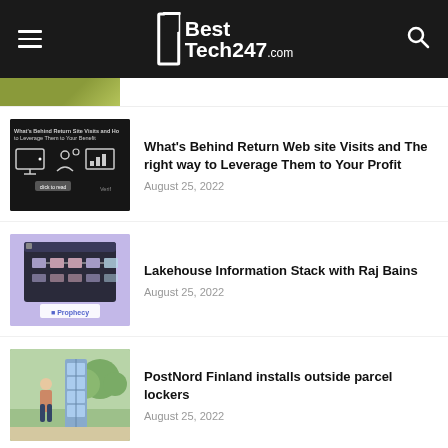BestTech247.com
[Figure (screenshot): Partial article thumbnail (green image, cropped)]
[Figure (photo): Article thumbnail: What's Behind Return Web site Visits - dark tech illustration with icons]
What's Behind Return Web site Visits and The right way to Leverage Them to Your Profit
August 25, 2022
[Figure (screenshot): Article thumbnail: Lakehouse Information Stack with Raj Bains - purple background with data pipeline diagram and Prophecy logo]
Lakehouse Information Stack with Raj Bains
August 25, 2022
[Figure (photo): Article thumbnail: PostNord Finland installs outside parcel lockers - woman near parcel locker outdoor]
PostNord Finland installs outside parcel lockers
August 25, 2022